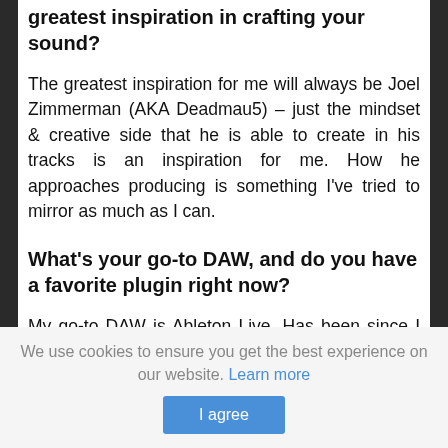greatest inspiration in crafting your sound?
The greatest inspiration for me will always be Joel Zimmerman (AKA Deadmau5) – just the mindset & creative side that he is able to create in his tracks is an inspiration for me. How he approaches producing is something I've tried to mirror as much as I can.
What's your go-to DAW, and do you have a favorite plugin right now?
My go-to DAW is Ableton Live. Has been since I started. Also been wanting to try others as well, just have not made that jump yet. I
We use cookies to ensure you get the best experience on our website. Learn more
I agree